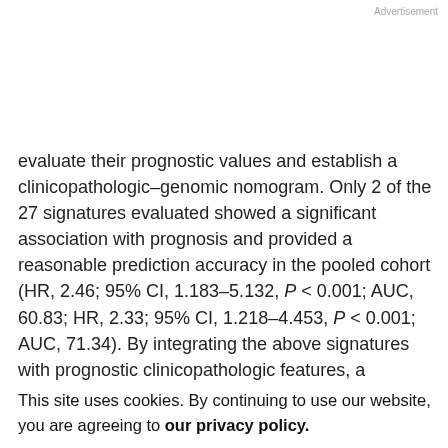Advertisement
evaluate their prognostic values and establish a clinicopathologic–genomic nomogram. Only 2 of the 27 signatures evaluated showed a significant association with prognosis and provided a reasonable prediction accuracy in the pooled cohort (HR, 2.46; 95% CI, 1.183–5.132, P < 0.001; AUC, 60.83; HR, 2.33; 95% CI, 1.218–4.453, P < 0.001; AUC, 71.34). By integrating the above signatures with prognostic clinicopathologic features, a clinicopathologic–genomic nomogram was cautiously
constructed. The nomogram successfully stratified colorectal cancer patients into three risk groups with remarkably different CRS rates and further stratified stage II and III patients into distinct risk subgroups. Importantly,
This site uses cookies. By continuing to use our website, you are agreeing to our privacy policy. Accept